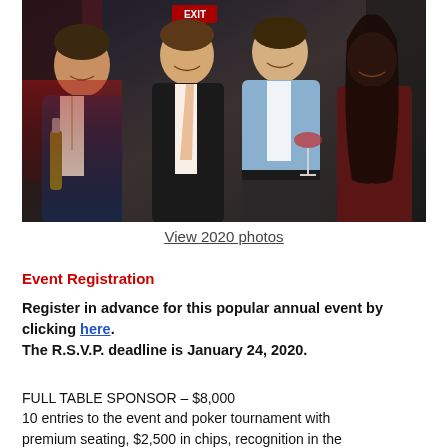[Figure (photo): Four people smiling and posing together at a party/event venue. Three men and one woman, holding drinks including beer bottles and wine glasses. Dark background with red bar lighting.]
View 2020 photos
Event Registration
Register in advance for this popular annual event by clicking here. The R.S.V.P. deadline is January 24, 2020.
FULL TABLE SPONSOR – $8,000
10 entries to the event and poker tournament with premium seating, $2,500 in chips, recognition in the